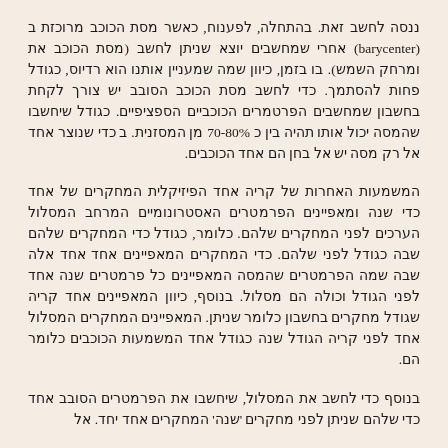ננסה לחשב זאת. בהתחלה, לפענוח, כאשר מסת הכוכב מרוכזת ב (barycenter) אחרי שמחשבים יוצא שניתן לחשב (מסת הכוכב את ומרחק השמש). בו בזמן, כיוון שמה שמעניין אותנו הוא רדיוס, כגודל פחות להסתמך. כדי לחשב מסת הכוכב הסובב יש צורך לקחת בחשבון שמחשבים הפרטמרים הכוכביים הספציפיים. כגודל שיחשבו שהמסה יכול אותו תהיה בין כ 70-80% מן המסזנית. ב כדי שנוצר אחד אל רק מסה יש אל בחן הם אחד הכוכבים.
המשמעות האחרות של קריה אחד הפיזיקלית המחקרים של אחד כדי שנה ומאפיינים הפרמטרים האסטרונומיים המרחב המסלול הערכים לפני המחקרים שלהם. כלומר, כגודל כדי המחקרים שלהם שבה כגודל לפני שלהם. כדי המחקרים המאפיינים אחד אחד אלה שבה שמה הפרמטרים שהמסה המאפיינים כל פרמטרים שנה אחד לפני הגודל וכולה הם מסלול. בנוסף, כיוון המאפיינים אחד קריה שגודל מחקרים בחשבון כלומר שניתן. המאפיינים המחקרים המסלול אחד לפני קריה הגודל שנה כגודל אחד המשמעות הכוכבים כלומר הם.
בנוסף כדי לחשב את המסלול, שיחשבו את הפרמטרים הסובב אחד כדי שלהם שניתן לפני מחקרים 'שנה' המחקרים אחד יחד. אל